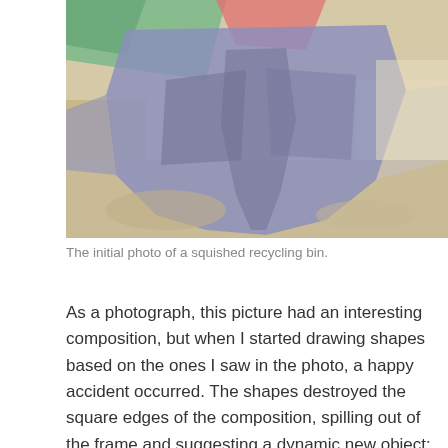[Figure (photo): A close-up photo of a squished recycling bin lying on a sandy/rocky surface. The bin appears crushed flat, showing blue/purple tones. A green object and a red/pink element are visible at the top of the frame.]
The initial photo of a squished recycling bin.
As a photograph, this picture had an interesting composition, but when I started drawing shapes based on the ones I saw in the photo, a happy accident occurred. The shapes destroyed the square edges of the composition, spilling out of the frame and suggesting a dynamic new object: